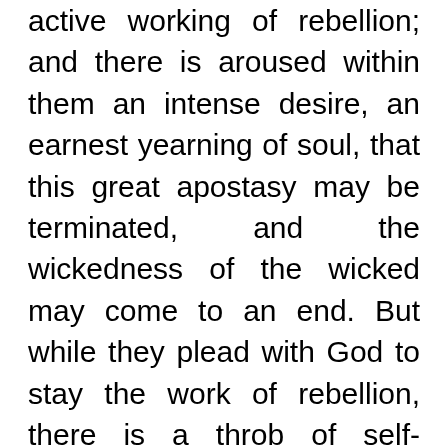active working of rebellion; and there is aroused within them an intense desire, an earnest yearning of soul, that this great apostasy may be terminated, and the wickedness of the wicked may come to an end. But while they plead with God to stay the work of rebellion, there is a throb of self-reproach that they themselves have no more power to resist and